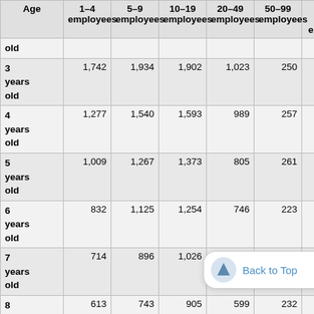| Age | 1–4 employees | 5–9 employees | 10–19 employees | 20–49 employees | 50–99 employees | 100+ more empl… |
| --- | --- | --- | --- | --- | --- | --- |
| old |  |  |  |  |  |  |
| 3 years old | 1,742 | 1,934 | 1,902 | 1,023 | 250 |  |
| 4 years old | 1,277 | 1,540 | 1,593 | 989 | 257 |  |
| 5 years old | 1,009 | 1,267 | 1,373 | 805 | 261 |  |
| 6 years old | 832 | 1,125 | 1,254 | 746 | 223 |  |
| 7 years old | 714 | 896 | 1,026 | 659 | 204 |  |
| 8 years old | 613 | 743 | 905 | 599 | 232 |  |
| 9 years | 541 | 724 | 847 | 550 | 187 |  |